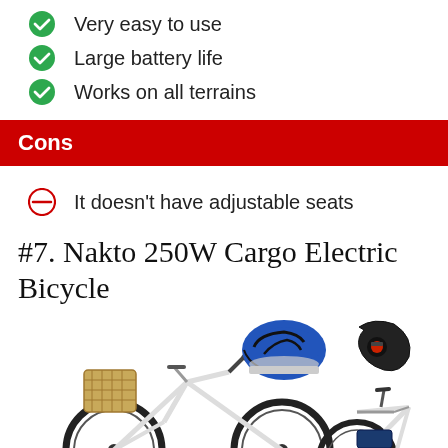Very easy to use
Large battery life
Works on all terrains
Cons
It doesn't have adjustable seats
#7. Nakto 250W Cargo Electric Bicycle
[Figure (photo): Nakto 250W Cargo Electric Bicycle shown from the side with a wicker basket, accompanied by a blue/black bicycle helmet and a combination cable lock accessory]